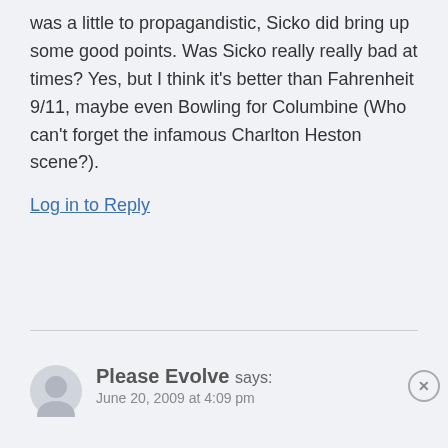was a little to propagandistic, Sicko did bring up some good points. Was Sicko really really bad at times? Yes, but I think it's better than Fahrenheit 9/11, maybe even Bowling for Columbine (Who can't forget the infamous Charlton Heston scene?).
Log in to Reply
Please Evolve says:
June 20, 2009 at 4:09 pm